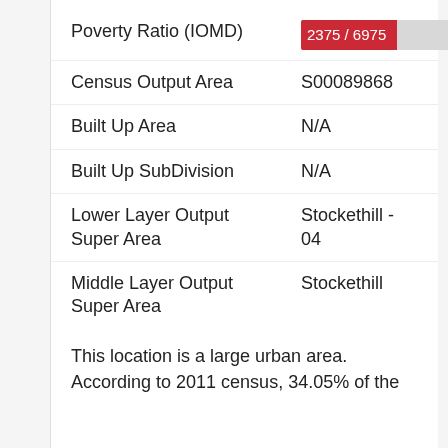| Field | Value |
| --- | --- |
| Poverty Ratio (IOMD) | 2375 / 6975 |
| Census Output Area | S00089868 |
| Built Up Area | N/A |
| Built Up SubDivision | N/A |
| Lower Layer Output Super Area | Stockethill - 04 |
| Middle Layer Output Super Area | Stockethill |
This location is a large urban area. According to 2011 census, 34.05% of the